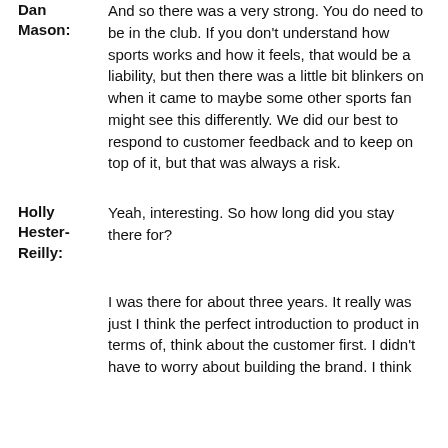Dan Mason: And so there was a very strong. You do need to be in the club. If you don't understand how sports works and how it feels, that would be a liability, but then there was a little bit blinkers on when it came to maybe some other sports fan might see this differently. We did our best to respond to customer feedback and to keep on top of it, but that was always a risk.
Holly Hester-Reilly: Yeah, interesting. So how long did you stay there for?
I was there for about three years. It really was just I think the perfect introduction to product in terms of, think about the customer first. I didn't have to worry about building the brand. I think